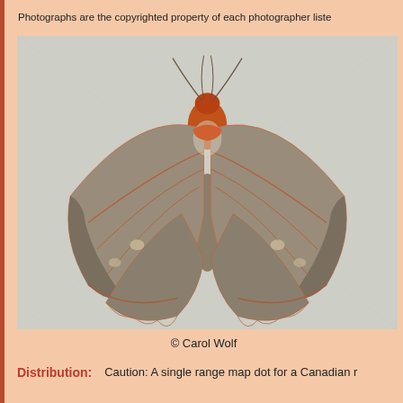Photographs are the copyrighted property of each photographer liste
[Figure (photo): Close-up photograph of a moth with brown/tan wings spread flat, displaying orange-red head/thorax. Wings show subtle reddish-brown venation lines against a grayish-white fabric background. Photographer: Carol Wolf.]
© Carol Wolf
Distribution:    Caution: A single range map dot for a Canadian r